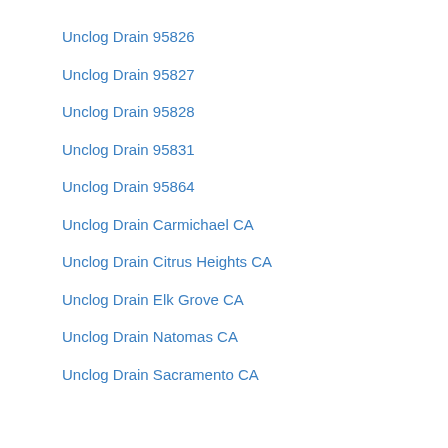Unclog Drain 95826
Unclog Drain 95827
Unclog Drain 95828
Unclog Drain 95831
Unclog Drain 95864
Unclog Drain Carmichael CA
Unclog Drain Citrus Heights CA
Unclog Drain Elk Grove CA
Unclog Drain Natomas CA
Unclog Drain Sacramento CA